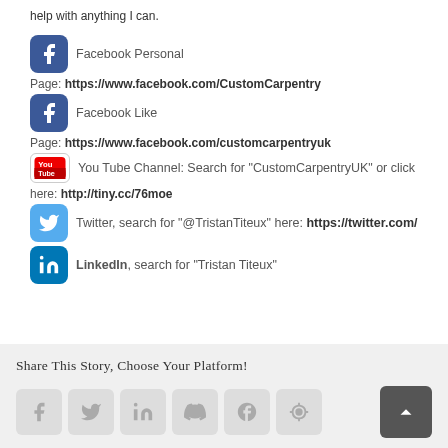help with anything I can.
Facebook Personal Page: https://www.facebook.com/CustomCarpentry
Facebook Like Page: https://www.facebook.com/customcarpentryuk
You Tube Channel: Search for "CustomCarpentryUK" or click here: http://tiny.cc/76moe
Twitter, search for "@TristanTiteux" here: https://twitter.com/
LinkedIn, search for "Tristan Titeux"
Share This Story, Choose Your Platform!